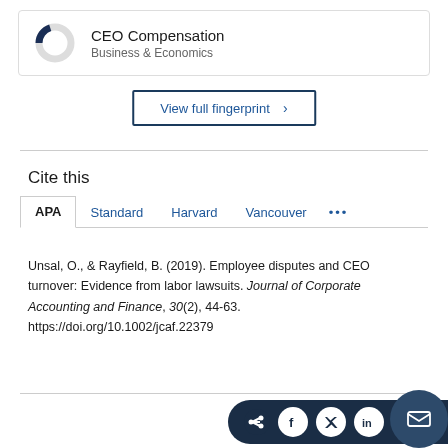[Figure (donut-chart): Small donut chart icon representing CEO Compensation in Business & Economics category]
CEO Compensation
Business & Economics
View full fingerprint >
Cite this
APA  Standard  Harvard  Vancouver  ...
Unsal, O., & Rayfield, B. (2019). Employee disputes and CEO turnover: Evidence from labor lawsuits. Journal of Corporate Accounting and Finance, 30(2), 44-63. https://doi.org/10.1002/jcaf.22379
[Figure (other): Social sharing bar with icons for share, Facebook, Twitter, LinkedIn, and email]